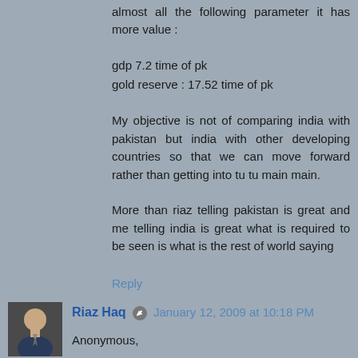almost all the following parameter it has more value :
gdp 7.2 time of pk
gold reserve : 17.52 time of pk
My objective is not of comparing india with pakistan but india with other developing countries so that we can move forward rather than getting into tu tu main main.
More than riaz telling pakistan is great and me telling india is great what is required to be seen is what is the rest of world saying
Reply
Riaz Haq  January 12, 2009 at 10:18 PM
Anonymous,

You ask and assert, "did some googling and following facts : [ source is cia site ]
per capital income